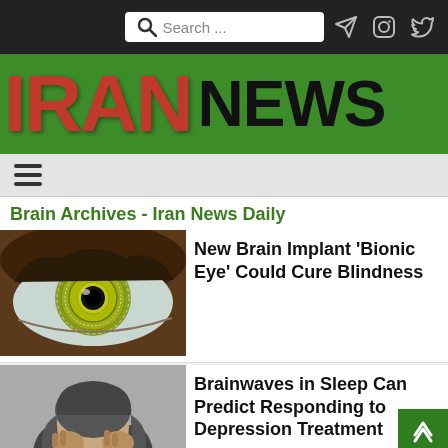Search ... [navigation icons]
[Figure (logo): Iran News Daily logo — IRAN in red metallic letters on green background, NEWS in black]
Hamburger menu icon
Brain Archives - Iran News Daily
[Figure (photo): Close-up of a human eye with a bionic/cybernetic iris overlay, yellow-green concentric circles]
New Brain Implant 'Bionic Eye' Could Cure Blindness
[Figure (photo): Black and white photo of a person with dark hair covering their face with their hands, appearing distressed]
Brainwaves in Sleep Can Predict Responding to Depression Treatment